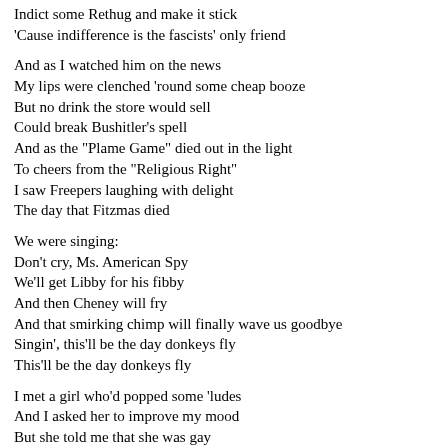Indict some Rethug and make it stick
'Cause indifference is the fascists' only friend

And as I watched him on the news
My lips were clenched 'round some cheap booze
But no drink the store would sell
Could break Bushitler's spell
And as the "Plame Game" died out in the light
To cheers from the "Religious Right"
I saw Freepers laughing with delight
The day that Fitzmas died

We were singing:
Don't cry, Ms. American Spy
We'll get Libby for his fibby
And then Cheney will fry
And that smirking chimp will finally wave us goodbye
Singin', this'll be the day donkeys fly
This'll be the day donkeys fly

I met a girl who'd popped some 'ludes
And I asked her to improve my mood
But she told me that she was gay
I went down to the DU board
Where I'd read the good news weeks before